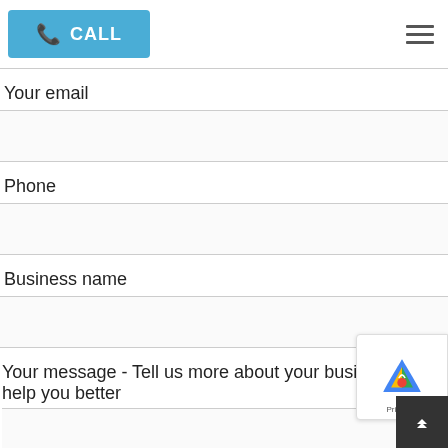CALL
Your email
Phone
Business name
Your message - Tell us more about your business so we can help you better